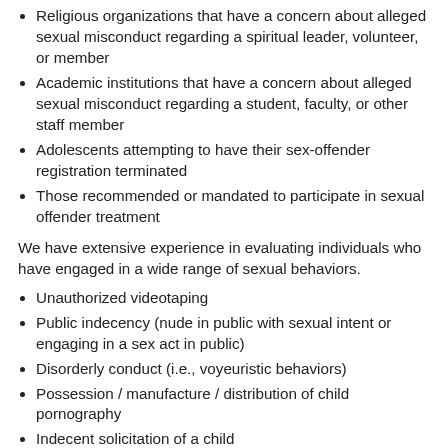Religious organizations that have a concern about alleged sexual misconduct regarding a spiritual leader, volunteer, or member
Academic institutions that have a concern about alleged sexual misconduct regarding a student, faculty, or other staff member
Adolescents attempting to have their sex-offender registration terminated
Those recommended or mandated to participate in sexual offender treatment
We have extensive experience in evaluating individuals who have engaged in a wide range of sexual behaviors.
Unauthorized videotaping
Public indecency (nude in public with sexual intent or engaging in a sex act in public)
Disorderly conduct (i.e., voyeuristic behaviors)
Possession / manufacture / distribution of child pornography
Indecent solicitation of a child
Grooming
Travel to meet a minor
Sexual exploitation of a child
Criminal sexual abuse or assault